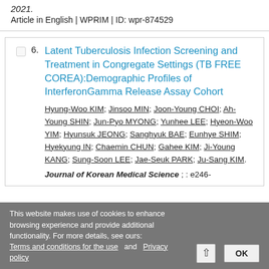2021.
Article in English | WPRIM | ID: wpr-874529
6. Latent Tuberculosis Infection Screening and Treatment in Congregate Settings (TB FREE COREA):Demographic Profiles of InterferonGamma Release Assay Cohort
Hyung-Woo KIM; Jinsoo MIN; Joon-Young CHOI; Ah-Young SHIN; Jun-Pyo MYONG; Yunhee LEE; Hyeon-Woo YIM; Hyunsuk JEONG; Sanghyuk BAE; Eunhye SHIM; Hyekyung IN; Chaemin CHUN; Gahee KIM; Ji-Young KANG; Sung-Soon LEE; Jae-Seuk PARK; Ju-Sang KIM.
Journal of Korean Medical Science ; : e246-
This website makes use of cookies to enhance browsing experience and provide additional functionality. For more details, see ours: Terms and conditions for the use and Privacy policy